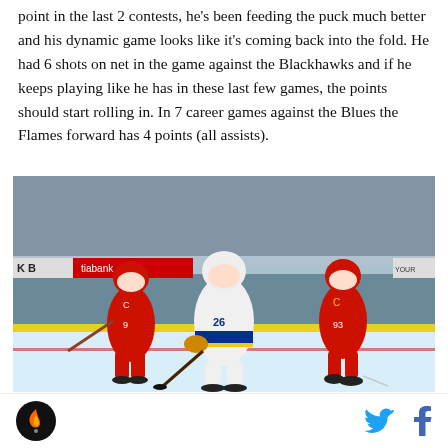point in the last 2 contests, he's been feeding the puck much better and his dynamic game looks like it's coming back into the fold. He had 6 shots on net in the game against the Blackhawks and if he keeps playing like he has in these last few games, the points should start rolling in. In 7 career games against the Blues the Flames forward has 4 points (all assists).
[Figure (photo): NHL hockey game photo showing a St. Louis Blues player in white/blue/yellow jersey (number 26) skating with the puck, flanked by two Calgary Flames players in red jerseys. One Flames player on left wears number 9, another on right wears number 93. Arena ice rink background with tiabank advertisement board visible.]
SB Nation logo | Twitter icon | Facebook icon